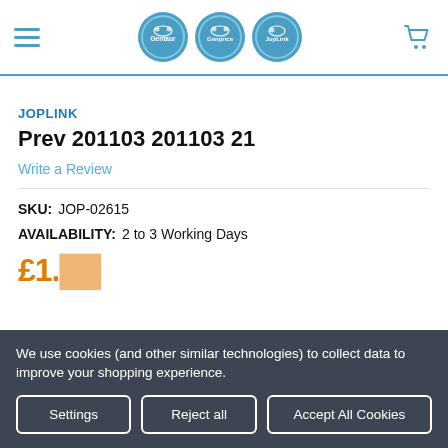[Figure (logo): Website header with hamburger menu, three circular logos (Gentaur, Genprice, JopLink), and a shopping cart icon]
JOPLINK
Prev 201103 201103 21
Write a Review
SKU: JOP-02615
AVAILABILITY: 2 to 3 Working Days
We use cookies (and other similar technologies) to collect data to improve your shopping experience.
Settings
Reject all
Accept All Cookies